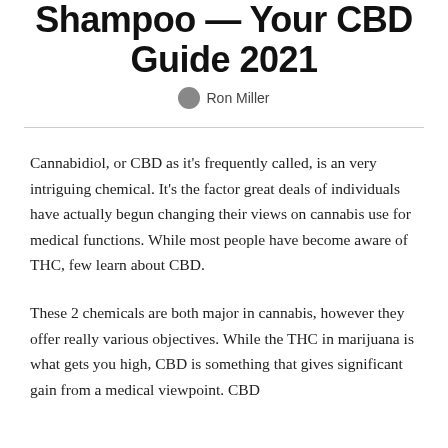Shampoo — Your CBD Guide 2021
Ron Miller
Cannabidiol, or CBD as it's frequently called, is an very intriguing chemical. It's the factor great deals of individuals have actually begun changing their views on cannabis use for medical functions. While most people have become aware of THC, few learn about CBD.
These 2 chemicals are both major in cannabis, however they offer really various objectives. While the THC in marijuana is what gets you high, CBD is something that gives significant gain from a medical viewpoint. CBD